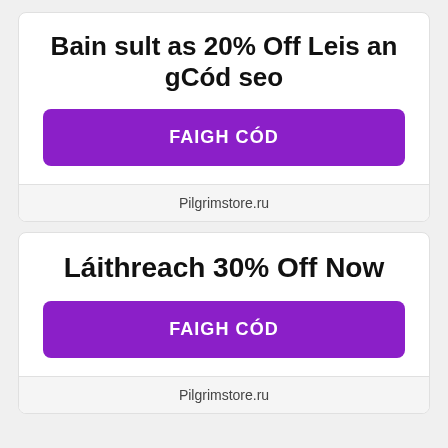Bain sult as 20% Off Leis an gCód seo
FAIGH CÓD
Pilgrimstore.ru
Láithreach 30% Off Now
FAIGH CÓD
Pilgrimstore.ru